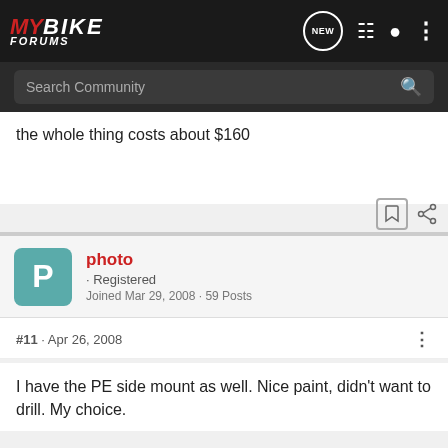MYBIKE FORUMS
the whole thing costs about $160
photo · Registered
Joined Mar 29, 2008 · 59 Posts
#11 · Apr 26, 2008
I have the PE side mount as well. Nice paint, didn't want to drill. My choice.